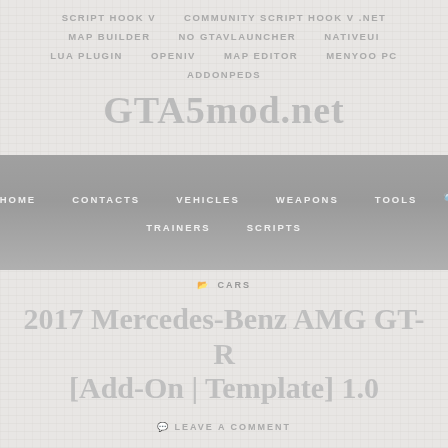SCRIPT HOOK V   COMMUNITY SCRIPT HOOK V .NET   MAP BUILDER   NO GTAVLAUNCHER   NATIVEUI   LUA PLUGIN   OPENIV   MAP EDITOR   MENYOO PC   ADDONPEDS
GTA5mod.net
HOME   CONTACTS   VEHICLES   WEAPONS   TOOLS   TRAINERS   SCRIPTS
⊨ CARS
2017 Mercedes-Benz AMG GT-R [Add-On | Template] 1.0
LEAVE A COMMENT